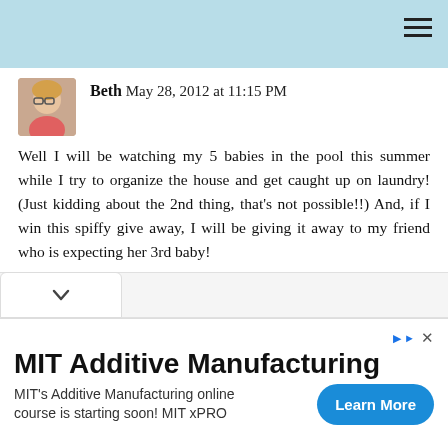Beth May 28, 2012 at 11:15 PM

Well I will be watching my 5 babies in the pool this summer while I try to organize the house and get caught up on laundry! (Just kidding about the 2nd thing, that's not possible!!) And, if I win this spiffy give away, I will be giving it away to my friend who is expecting her 3rd baby!

Beth
goretrogirl@gmail.com

REPLY
MIT Additive Manufacturing
MIT's Additive Manufacturing online course is starting soon! MIT xPRO
Learn More